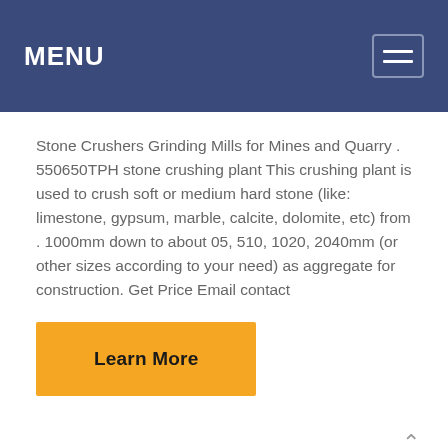MENU
Stone Crushers Grinding Mills for Mines and Quarry . 550650TPH stone crushing plant This crushing plant is used to crush soft or medium hard stone (like: limestone, gypsum, marble, calcite, dolomite, etc) from . 1000mm down to about 05, 510, 1020, 2040mm (or other sizes according to your need) as aggregate for construction. Get Price Email contact
Learn More